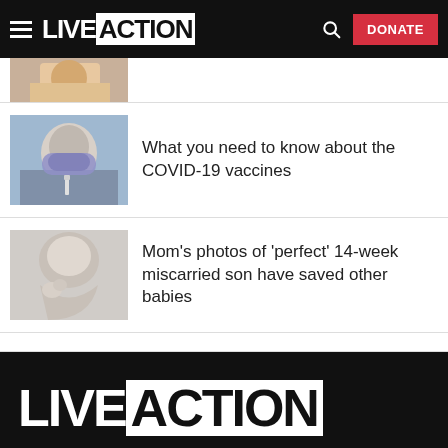LIVE ACTION — Navigation header with hamburger menu, search icon, and DONATE button
[Figure (photo): Partial view of a medical/health related thumbnail image at top, cropped]
What you need to know about the COVID-19 vaccines
Mom's photos of 'perfect' 14-week miscarried son have saved other babies
LIVE ACTION footer logo on black background